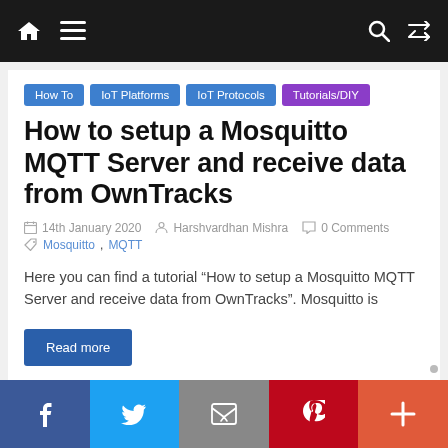Navigation bar with home, menu, search, and shuffle icons
How To
IoT Platforms
IoT Protocols
Tutorials/DIY
How to setup a Mosquitto MQTT Server and receive data from OwnTracks
14th January 2020  Harshvardhan Mishra  0 Comments
Mosquitto , MQTT
Here you can find a tutorial “How to setup a Mosquitto MQTT Server and receive data from OwnTracks”. Mosquitto is
Read more
Social share bar: Facebook, Twitter, Email, Pinterest, More